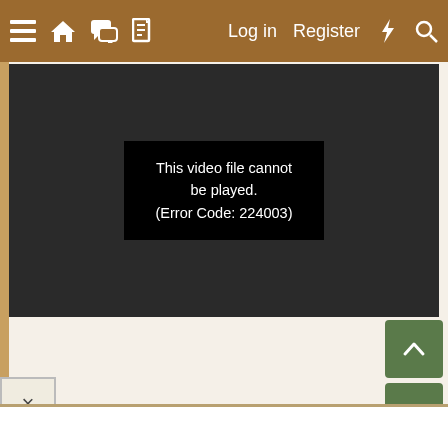[Figure (screenshot): Website navigation bar with brown/tan background. Left side has hamburger menu icon, home icon, chat/forum icon, and document icon. Right side has 'Log in', 'Register' text links, a lightning bolt icon, and a search icon. All icons and text are white.]
[Figure (screenshot): Video player area with dark background showing error message: 'This video file cannot be played. (Error Code: 224003)' in white text on a black box.]
This video file cannot be played. (Error Code: 224003)
[Figure (screenshot): Two green square scroll buttons on the right side: up arrow button and down arrow button.]
[Figure (screenshot): Close button (X) in the lower left corner.]
[Figure (screenshot): White text input area at the bottom of the page.]